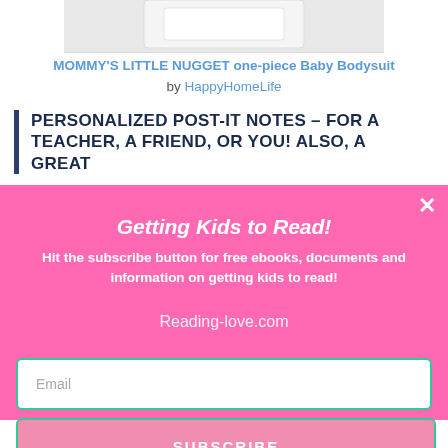[Figure (photo): Partial view of a white baby bodysuit product image against a light background]
MOMMY'S LITTLE NUGGET one-piece Baby Bodysuit by HappyHomeLife
PERSONALIZED POST-IT NOTES – FOR A TEACHER, A FRIEND, OR YOU! ALSO, A GREAT
[Figure (screenshot): Pink modal popup overlay with title 'Getting Kids to Read!', subtitle 'Hit the subscribe button for free ebooks, documents and information on getting kids to read!', URL 'Reading-love.com', a close X button, an email input field, and a SUBSCRIBE button]
Getting Kids to Read!
Hit the subscribe button for free ebooks, documents and information on getting kids to read!
Reading-love.com